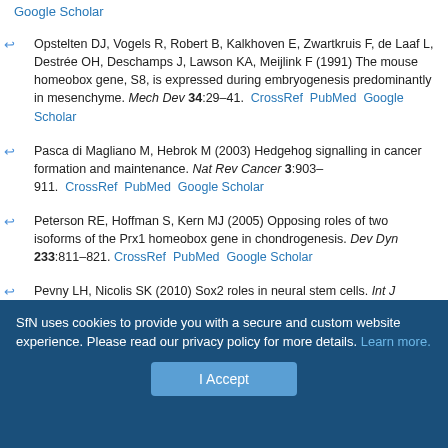Google Scholar
Opstelten DJ, Vogels R, Robert B, Kalkhoven E, Zwartkruis F, de Laaf L, Destrée OH, Deschamps J, Lawson KA, Meijlink F (1991) The mouse homeobox gene, S8, is expressed during embryogenesis predominantly in mesenchyme. Mech Dev 34:29–41. CrossRef PubMed Google Scholar
Pasca di Magliano M, Hebrok M (2003) Hedgehog signalling in cancer formation and maintenance. Nat Rev Cancer 3:903–911. CrossRef PubMed Google Scholar
Peterson RE, Hoffman S, Kern MJ (2005) Opposing roles of two isoforms of the Prx1 homeobox gene in chondrogenesis. Dev Dyn 233:811–821. CrossRef PubMed Google Scholar
Pevny LH, Nicolis SK (2010) Sox2 roles in neural stem cells. Int J Biochem Cell Biol 42:421–424. CrossRef PubMed Google Scholar
SfN uses cookies to provide you with a secure and custom website experience. Please read our privacy policy for more details. Learn more.